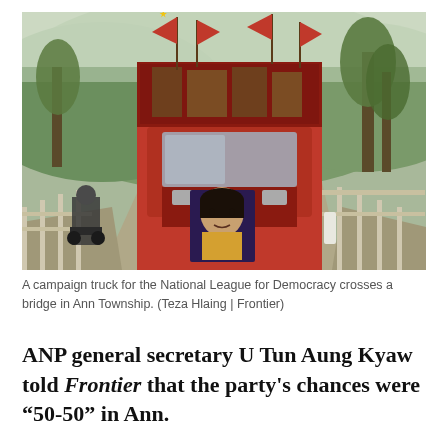[Figure (photo): A red campaign truck decorated with red NLD party flags and a portrait of Aung San Suu Kyi on its front, crossing a bridge in a rural area with hills and trees in the background. A motorcyclist is visible on the left.]
A campaign truck for the National League for Democracy crosses a bridge in Ann Township. (Teza Hlaing | Frontier)
ANP general secretary U Tun Aung Kyaw told Frontier that the party's chances were “50-50” in Ann.